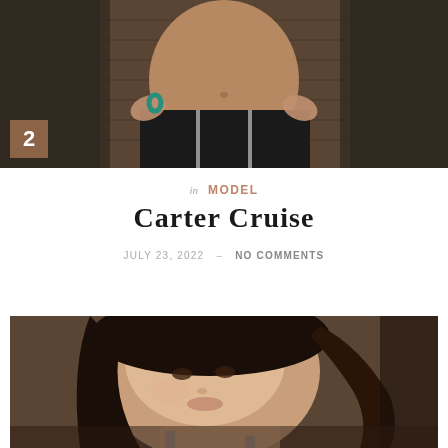[Figure (photo): Cropped photo showing a person's midriff area wearing black athletic wear, hands on hips, with a brick wall background. Number badge '2' in brown square at bottom left.]
in MODEL
Carter Cruise
JULY 23, 2022 – NO COMMENTS
[Figure (photo): Close-up photo of a young woman with dark curly hair, wearing a blue strap top, looking at camera with a slight tilt.]